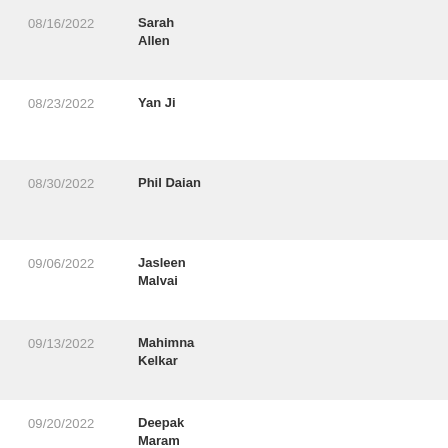| Date | Name |
| --- | --- |
| 08/16/2022 | Sarah Allen |
| 08/23/2022 | Yan Ji |
| 08/30/2022 | Phil Daian |
| 09/06/2022 | Jasleen Malvai |
| 09/13/2022 | Mahimna Kelkar |
| 09/20/2022 | Deepak Maram |